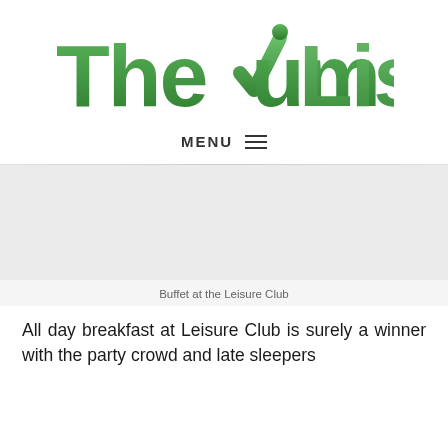[Figure (logo): The Yum List logo — green gradient text with a checkmark replacing the 'Y' in Yum]
MENU ≡
[Figure (photo): Buffet at the Leisure Club — photo placeholder area]
Buffet at the Leisure Club
All day breakfast at Leisure Club is surely a winner with the party crowd and late sleepers